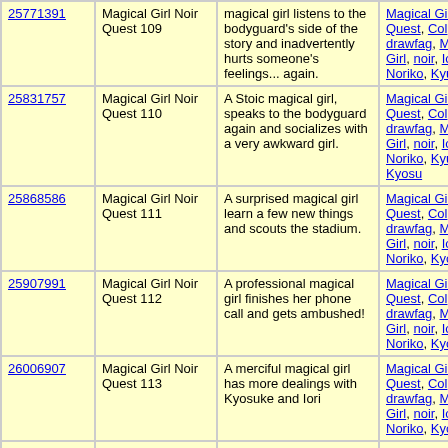| ID | Title | Description | Tags |
| --- | --- | --- | --- |
| 25771391 | Magical Girl Noir Quest 109 | magical girl listens to the bodyguard's side of the story and inadvertently hurts someone's feelings... again. | Magical Girl Noir Quest, Col drawfag, Magical Girl, noir, Iori, Noriko, Kyuubey |
| 25831757 | Magical Girl Noir Quest 110 | A Stoic magical girl, speaks to the bodyguard again and socializes with a very awkward girl. | Magical Girl Noir Quest, Col drawfag, Magical Girl, noir, Iori, Noriko, Kyuubey, Kyosu |
| 25868586 | Magical Girl Noir Quest 111 | A surprised magical girl learn a few new things and scouts the stadium. | Magical Girl Noir Quest, Col drawfag, Magical Girl, noir, Iori, Noriko, Kyosuke |
| 25907991 | Magical Girl Noir Quest 112 | A professional magical girl finishes her phone call and gets ambushed! | Magical Girl Noir Quest, Col drawfag, Magical Girl, noir, Iori, Noriko, Kyosuke |
| 26006907 | Magical Girl Noir Quest 113 | A merciful magical girl has more dealings with Kyosuke and Iori | Magical Girl Noir Quest, Col drawfag, Magical Girl, noir, Iori, Noriko, Kyosuke |
| 26025769 | Magical Girl Noir Quest 114 | An impressed magical girl gains several cup sizes and a few Inches in height. | Magical Girl Noir Quest, Col drawfag, Magical Girl, noir, Iori, Kyosuke, Kyoko, Midor |